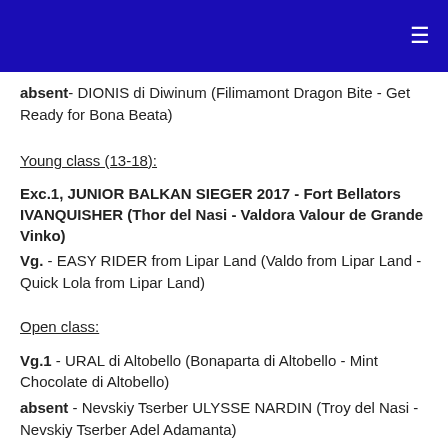≡
absent- DIONIS di Diwinum (Filimamont Dragon Bite - Get Ready for Bona Beata)
Young class (13-18):
Exc.1, JUNIOR BALKAN SIEGER 2017 - Fort Bellators IVANQUISHER (Thor del Nasi - Valdora Valour de Grande Vinko)
Vg. - EASY RIDER from Lipar Land (Valdo from Lipar Land - Quick Lola from Lipar Land)
Open class:
Vg.1 - URAL di Altobello (Bonaparta di Altobello - Mint Chocolate di Altobello)
absent - Nevskiy Tserber ULYSSE NARDIN (Troy del Nasi - Nevskiy Tserber Adel Adamanta)